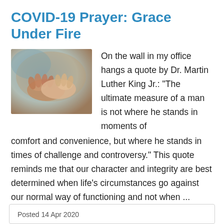COVID-19 Prayer: Grace Under Fire
[Figure (photo): Close-up photo of hands clasped together, suggesting comfort or prayer, with soft blurred background in warm and cool tones.]
On the wall in my office hangs a quote by Dr. Martin Luther King Jr.: “The ultimate measure of a man is not where he stands in moments of comfort and convenience, but where he stands in times of challenge and controversy.” This quote reminds me that our character and integrity are best determined when life’s circumstances go against our normal way of functioning and not when ...
Posted 14 Apr 2020